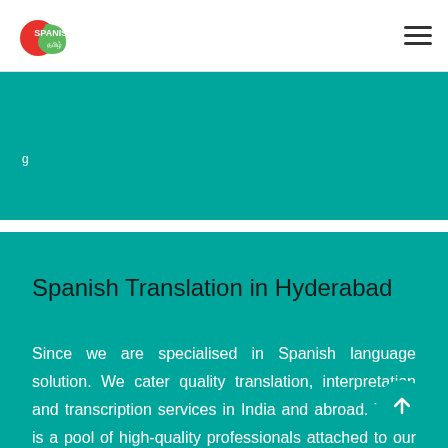[Figure (logo): Spanish Tamil logo with red and green semicircle design and text 'SPANISH' with Tamil script below]
Spanish Translation in Hyderabad
Since we are specialised in Spanish language solution. We cater quality translation, interpretation and transcription services in India and abroad. There is a pool of high-quality professionals attached to our organization. We also collaborate with global language solution partners from India and abroad.